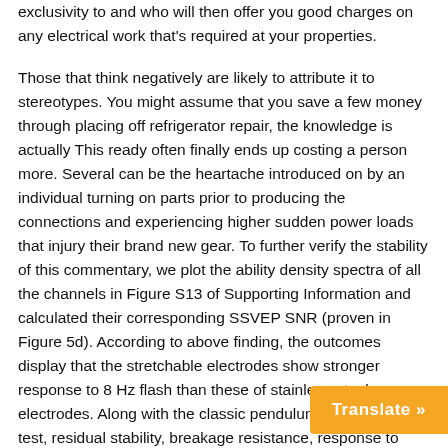exclusivity to and who will then offer you good charges on any electrical work that's required at your properties.
Those that think negatively are likely to attribute it to stereotypes. You might assume that you save a few money through placing off refrigerator repair, the knowledge is actually This ready often finally ends up costing a person more. Several can be the heartache introduced on by an individual turning on parts prior to producing the connections and experiencing higher sudden power loads that injury their brand new gear. To further verify the stability of this commentary, we plot the ability density spectra of all the channels in Figure S13 of Supporting Information and calculated their corresponding SSVEP SNR (proven in Figure 5d). According to above finding, the outcomes display that the stretchable electrodes show stronger response to 8 Hz flash than these of stainless-steel screw electrodes. Along with the classic pendulum impression test, residual stability, breakage resistance, response to tension and compression in addition to stability of brackets and suspension profiles are examined, recorded and logged with testing machines. Before your tenants move in